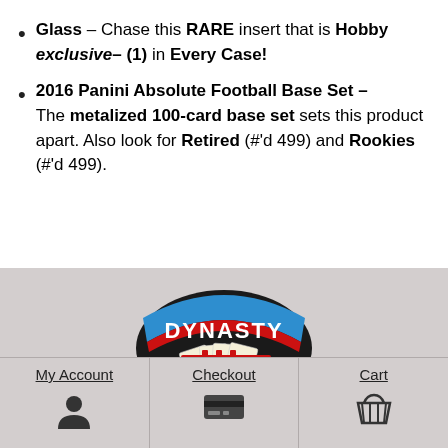Glass – Chase this RARE insert that is Hobby exclusive– (1) in Every Case!
2016 Panini Absolute Football Base Set – The metalized 100-card base set sets this product apart. Also look for Retired (#'d 499) and Rookies (#'d 499).
[Figure (logo): Dynasty trading cards logo — blue arched banner with white text DYNASTY and illustrated playing cards below on black background]
My Account   Checkout   Cart